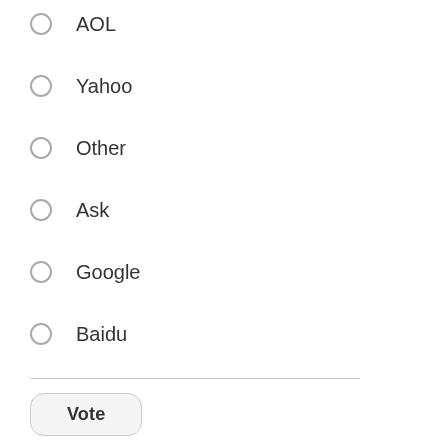AOL
Yahoo
Other
Ask
Google
Baidu
Vote
View Results
Crowdsignal.com